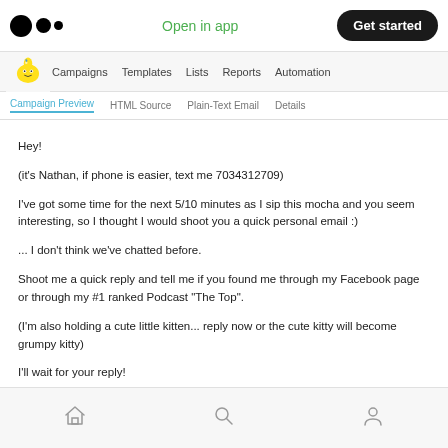Open in app | Get started
Campaigns  Templates  Lists  Reports  Automation
Campaign Preview  HTML Source  Plain-Text Email  Details
Hey!
(it's Nathan, if phone is easier, text me 7034312709)
I've got some time for the next 5/10 minutes as I sip this mocha and you seem interesting, so I thought I would shoot you a quick personal email :)
... I don't think we've chatted before.
Shoot me a quick reply and tell me if you found me through my Facebook page or through my #1 ranked Podcast "The Top".
(I'm also holding a cute little kitten... reply now or the cute kitty will become grumpy kitty)
I'll wait for your reply!
Home | Search | Profile